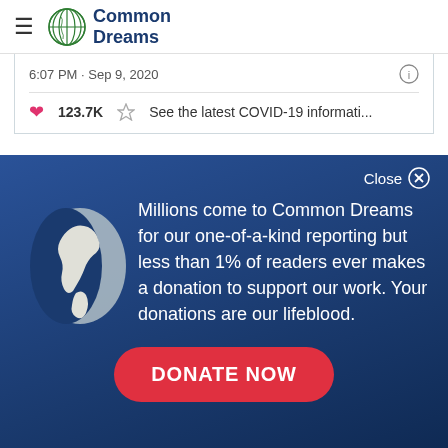Common Dreams
6:07 PM · Sep 9, 2020
123.7K  See the latest COVID-19 informati...
Close
Millions come to Common Dreams for our one-of-a-kind reporting but less than 1% of readers ever makes a donation to support our work. Your donations are our lifeblood.
DONATE NOW